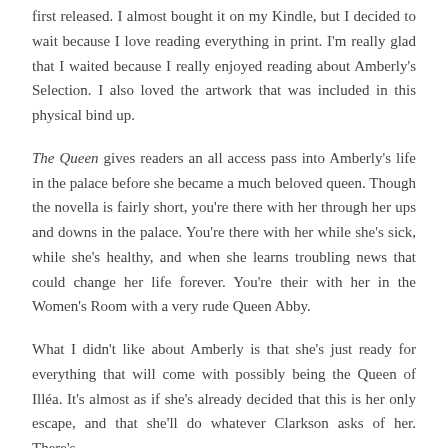first released. I almost bought it on my Kindle, but I decided to wait because I love reading everything in print. I'm really glad that I waited because I really enjoyed reading about Amberly's Selection. I also loved the artwork that was included in this physical bind up.
The Queen gives readers an all access pass into Amberly's life in the palace before she became a much beloved queen. Though the novella is fairly short, you're there with her through her ups and downs in the palace. You're there with her while she's sick, while she's healthy, and when she learns troubling news that could change her life forever. You're their with her in the Women's Room with a very rude Queen Abby.
What I didn't like about Amberly is that she's just ready for everything that will come with possibly being the Queen of Illéa. It's almost as if she's already decided that this is her only escape, and that she'll do whatever Clarkson asks of her. There's